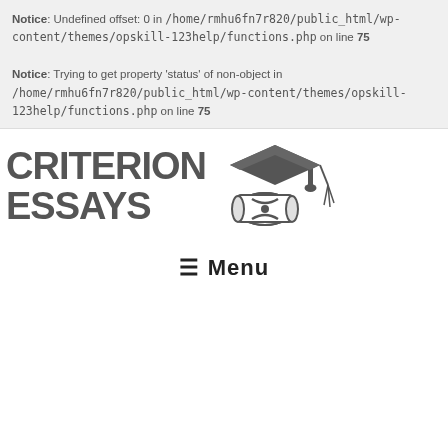Notice: Undefined offset: 0 in /home/rmhu6fn7r820/public_html/wp-content/themes/opskill-123help/functions.php on line 75
Notice: Trying to get property 'status' of non-object in /home/rmhu6fn7r820/public_html/wp-content/themes/opskill-123help/functions.php on line 75
[Figure (logo): Criterion Essays logo with graduation cap and diploma illustration]
≡ Menu